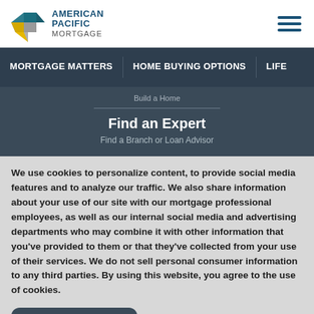[Figure (logo): American Pacific Mortgage logo with geometric diamond shape and text]
MORTGAGE MATTERS | HOME BUYING OPTIONS | LIFE
Build a Home
Find an Expert
Find a Branch or Loan Advisor
We use cookies to personalize content, to provide social media features and to analyze our traffic. We also share information about your use of our site with our mortgage professional employees, as well as our internal social media and advertising departments who may combine it with other information that you've provided to them or that they've collected from your use of their services. We do not sell personal consumer information to any third parties. By using this website, you agree to the use of cookies.
ACCEPT COOKIES